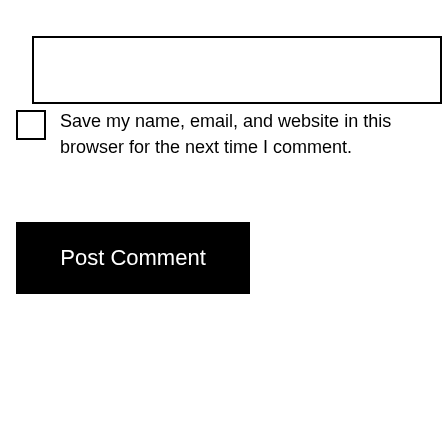[Figure (other): Empty text input field with black border]
Save my name, email, and website in this browser for the next time I comment.
Post Comment